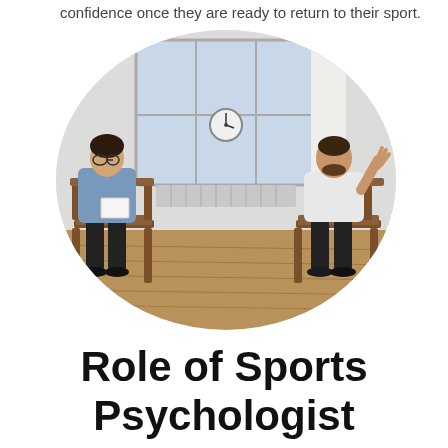confidence once they are ready to return to their sport.
[Figure (photo): Two people seated in wooden chairs facing each other in a therapy or counseling session. A woman on the left wearing glasses holds a notebook, and a bearded man on the right raises his hand as if speaking. A clock is visible on the wall in the background, with large windows letting in natural light. The image is cropped in an oval shape.]
Role of Sports Psychologist